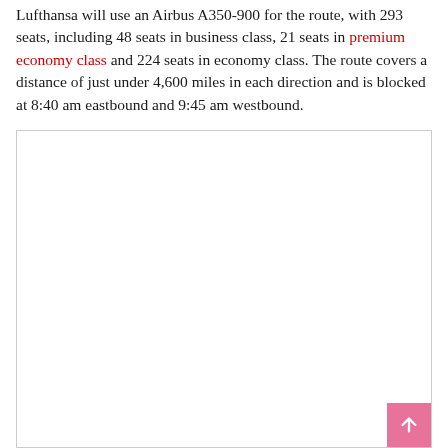Lufthansa will use an Airbus A350-900 for the route, with 293 seats, including 48 seats in business class, 21 seats in premium economy class and 224 seats in economy class. The route covers a distance of just under 4,600 miles in each direction and is blocked at 8:40 am eastbound and 9:45 am westbound.
[Figure (other): Empty white rectangular image placeholder with a light grey border and a pink scroll-to-top button in the bottom-right corner.]